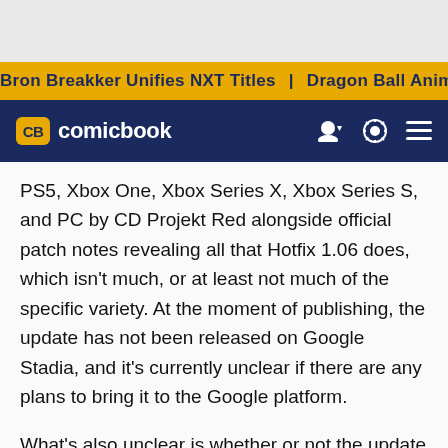Bron Breakker Unifies NXT Titles | Dragon Ball Anime Rumor
CB comicbook
PS5, Xbox One, Xbox Series X, Xbox Series S, and PC by CD Projekt Red alongside official patch notes revealing all that Hotfix 1.06 does, which isn't much, or at least not much of the specific variety. At the moment of publishing, the update has not been released on Google Stadia, and it's currently unclear if there are any plans to bring it to the Google platform.
What's also unclear is whether or not the update will require a download from players, and if it does, how big the update's file size is. While the patch notes are brief, some